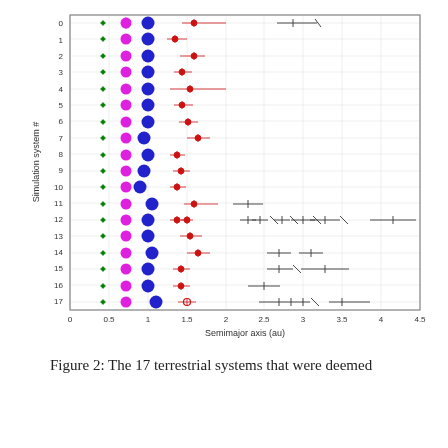[Figure (scatter-plot): Scatter plot showing 18 simulation systems (0-17) on the y-axis vs semimajor axis (au) on the x-axis. Each system has colored dot markers (green, magenta/pink, blue, red) with error bars clustered around 0.4-1.7 au, plus black cross markers at larger semimajor axes for some systems.]
Figure 2: The 17 terrestrial systems that were deemed